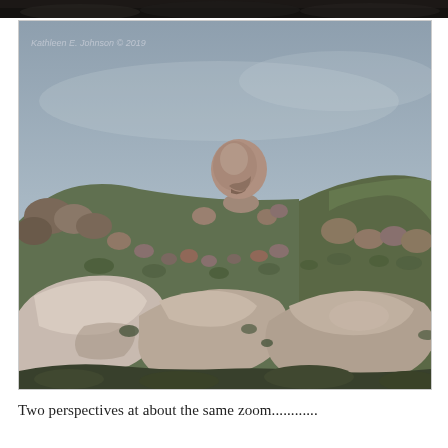[Figure (photo): Two photographs of rocky hillside terrain. Top strip shows a partial dark/shadowed rocky landscape. Main image shows a rocky hillside with a distinctive large boulder balanced on the slope, against a light blue-grey sky. Foreground shows large rounded boulders and rocks with sparse desert vegetation. Photo credit reads 'Kathleen E. Johnson © 2019'.]
Two perspectives at about the same zoom............